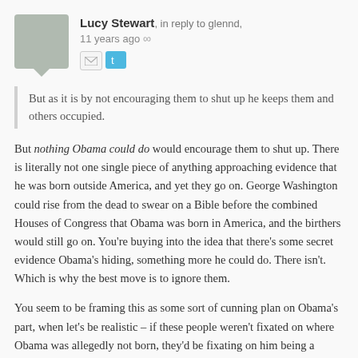Lucy Stewart, in reply to glennd, 11 years ago
But as it is by not encouraging them to shut up he keeps them and others occupied.
But nothing Obama could do would encourage them to shut up. There is literally not one single piece of anything approaching evidence that he was born outside America, and yet they go on. George Washington could rise from the dead to swear on a Bible before the combined Houses of Congress that Obama was born in America, and the birthers would still go on. You're buying into the idea that there's some secret evidence Obama's hiding, something more he could do. There isn't. Which is why the best move is to ignore them.
You seem to be framing this as some sort of cunning plan on Obama's part, when let's be realistic – if these people weren't fixated on where Obama was allegedly not born, they'd be fixating on him being a secret Muslim, or him being a